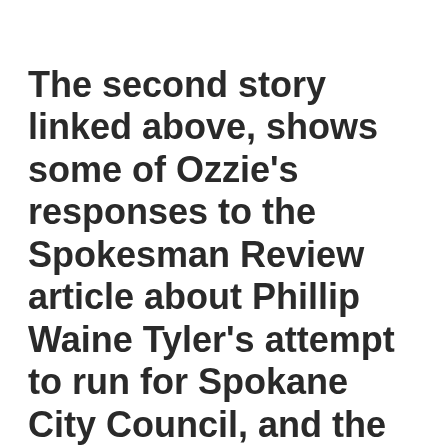The second story linked above, shows some of Ozzie's responses to the Spokesman Review article about Phillip Waine Tyler's attempt to run for Spokane City Council, and the rave reviews the Wizard gave him.
Why an individual like Tyler where there is no available evidence that he has ever